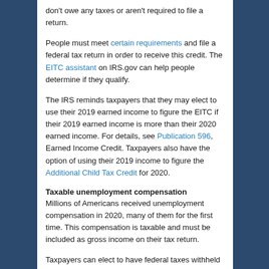don't owe any taxes or aren't required to file a return.
People must meet certain requirements and file a federal tax return in order to receive this credit. The EITC assistant on IRS.gov can help people determine if they qualify.
The IRS reminds taxpayers that they may elect to use their 2019 earned income to figure the EITC if their 2019 earned income is more than their 2020 earned income. For details, see Publication 596, Earned Income Credit. Taxpayers also have the option of using their 2019 income to figure the Additional Child Tax Credit for 2020.
Taxable unemployment compensation
Millions of Americans received unemployment compensation in 2020, many of them for the first time. This compensation is taxable and must be included as gross income on their tax return.
Taxpayers can elect to have federal taxes withheld from